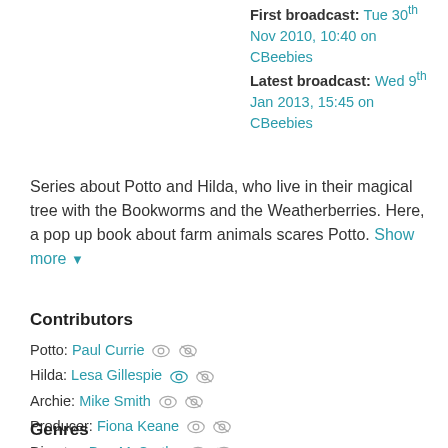First broadcast: Tue 30th Nov 2010, 10:40 on CBeebies
Latest broadcast: Wed 9th Jan 2013, 15:45 on CBeebies
Series about Potto and Hilda, who live in their magical tree with the Bookworms and the Weatherberries. Here, a pop up book about farm animals scares Potto. Show more
Contributors
Potto: Paul Currie
Hilda: Lesa Gillespie
Archie: Mike Smith
Producer: Fiona Keane
Director: Dez McCarthy
Genres